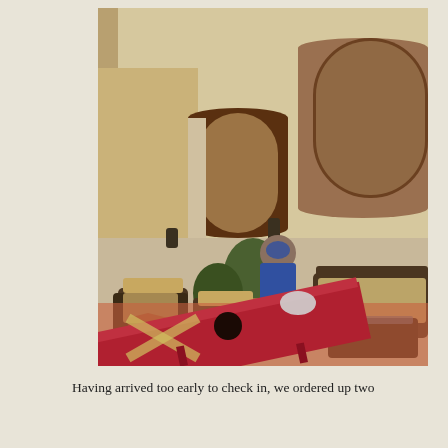[Figure (photo): A man in a blue t-shirt, cap and camouflage shorts playing cornhole (bean bag toss game) in an upscale Spanish-style courtyard with terracotta tile flooring, wicker furniture, lush plants, arched doorways and lanterns. A red cornhole board is prominently in the foreground.]
Having arrived too early to check in, we ordered up two